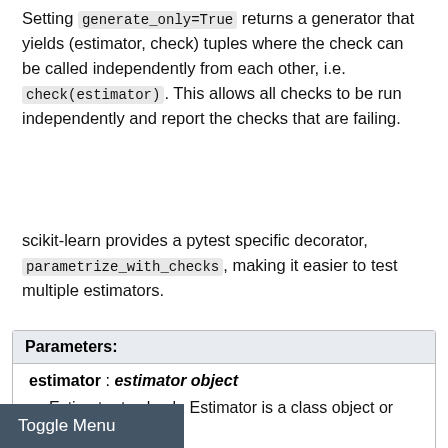Setting generate_only=True returns a generator that yields (estimator, check) tuples where the check can be called independently from each other, i.e. check(estimator). This allows all checks to be run independently and report the checks that are failing.
scikit-learn provides a pytest specific decorator, parametrize_with_checks, making it easier to test multiple estimators.
Parameters:
estimator : estimator object
Estimator to check. Estimator is a class object or instance.
Deprecated since version 0.23: Passing a class is deprecated from version 0.23, and won't be supported in 0.24. Pass an instance instead.
Toggle Menu